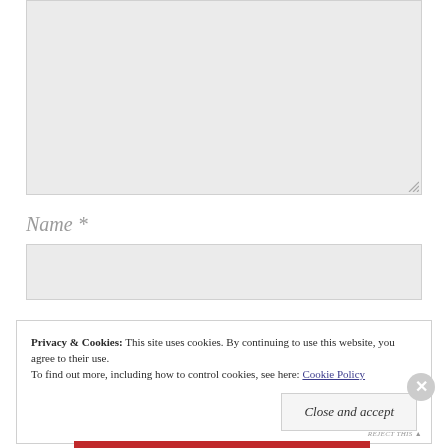[Figure (screenshot): Large light-gray textarea input box with resize handle at bottom-right corner]
Name *
[Figure (screenshot): Light-gray text input field for Name]
Privacy & Cookies:  This site uses cookies. By continuing to use this website, you agree to their use.
To find out more, including how to control cookies, see here: Cookie Policy
Close and accept